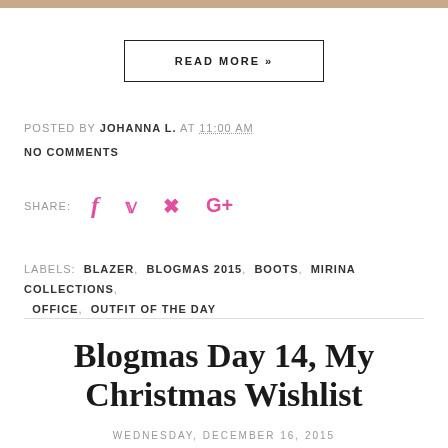[Figure (photo): Top decorative image strip]
READ MORE »
POSTED BY JOHANNA L. AT 11:00 AM
NO COMMENTS
SHARE:
Labels: BLAZER, BLOGMAS 2015, BOOTS, MIRINA COLLECTIONS, OFFICE, OUTFIT OF THE DAY
Blogmas Day 14, My Christmas Wishlist
WEDNESDAY, DECEMBER 16, 2015